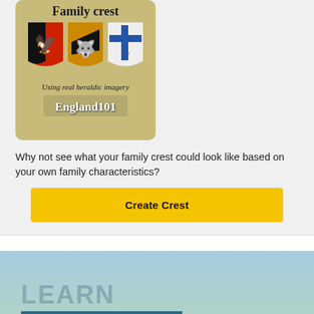[Figure (illustration): Family crest promotional image showing three heraldic shields on a golden/olive background with text 'Family crest', 'Using real heraldic imagery', and 'England101']
Why not see what your family crest could look like based on your own family characteristics?
Create Crest
[Figure (screenshot): Blue-green gradient background section with 'LEARN' watermark text and a horizontal blue line]
By using our site we assume you are ok with our cookie policy
Ok
Discover where the HYNES Family members live